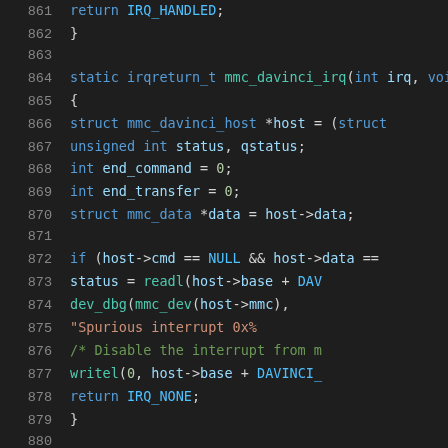[Figure (screenshot): Source code listing showing C code for mmc_davinci_irq interrupt handler, lines 861-882, with syntax highlighting on dark background]